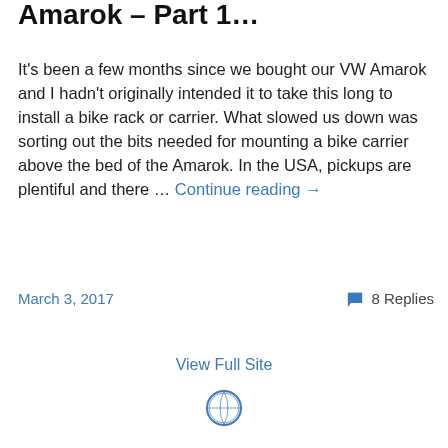Amarok – Part 1…
It's been a few months since we bought our VW Amarok and I hadn't originally intended it to take this long to install a bike rack or carrier. What slowed us down was sorting out the bits needed for mounting a bike carrier above the bed of the Amarok. In the USA, pickups are plentiful and there … Continue reading →
March 3, 2017
8 Replies
View Full Site